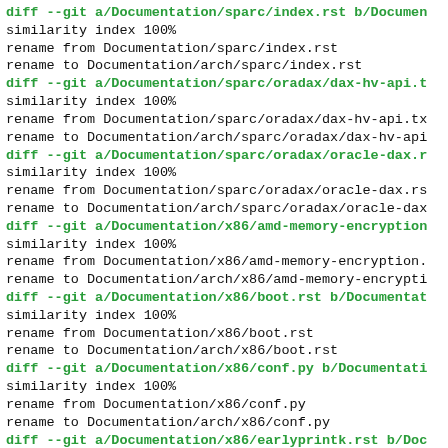diff --git a/Documentation/sparc/index.rst b/Documentation/sparc/index.rst
similarity index 100%
rename from Documentation/sparc/index.rst
rename to Documentation/arch/sparc/index.rst
diff --git a/Documentation/sparc/oradax/dax-hv-api.t
similarity index 100%
rename from Documentation/sparc/oradax/dax-hv-api.tx
rename to Documentation/arch/sparc/oradax/dax-hv-api
diff --git a/Documentation/sparc/oradax/oracle-dax.r
similarity index 100%
rename from Documentation/sparc/oradax/oracle-dax.rs
rename to Documentation/arch/sparc/oradax/oracle-dax
diff --git a/Documentation/x86/amd-memory-encryption
similarity index 100%
rename from Documentation/x86/amd-memory-encryption.
rename to Documentation/arch/x86/amd-memory-encrypti
diff --git a/Documentation/x86/boot.rst b/Documentat
similarity index 100%
rename from Documentation/x86/boot.rst
rename to Documentation/arch/x86/boot.rst
diff --git a/Documentation/x86/conf.py b/Documentati
similarity index 100%
rename from Documentation/x86/conf.py
rename to Documentation/arch/x86/conf.py
diff --git a/Documentation/x86/earlyprintk.rst b/Doc
similarity index 100%
rename from Documentation/x86/earlyprintk.rst
rename to Documentation/arch/x86/earlyprintk.rst
diff --git a/Documentation/x86/entry_64.rst b/Docume
similarity index 100%
rename from Documentation/x86/entry_64.rst
rename to Documentation/arch/x86/entry_64.rst